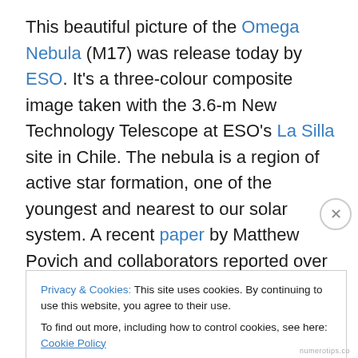This beautiful picture of the Omega Nebula (M17) was release today by ESO. It's a three-colour composite image taken with the 3.6-m New Technology Telescope at ESO's La Silla site in Chile. The nebula is a region of active star formation, one of the youngest and nearest to our solar system. A recent paper by Matthew Povich and collaborators reported over 90 candidate newborn stars in the region at varying stages of starbirth. Energetic radiation from hot young stars is exciting and lighting up the gas in the nebula.
Privacy & Cookies: This site uses cookies. By continuing to use this website, you agree to their use.
To find out more, including how to control cookies, see here: Cookie Policy